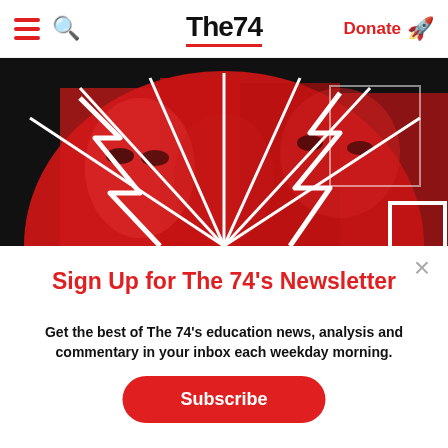The74 — Donate
[Figure (illustration): Red-tinted collage of children's faces with white geometric lightning bolt shapes radiating from center, on dark background. The 74 newsletter hero image.]
Sign Up for The 74's Newsletter
Get the best of The 74's education news, analysis and commentary in your inbox each weekday morning.
Subscribe